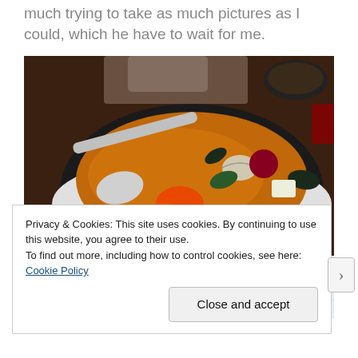much trying to take as much pictures as I could, which he have to wait for me.
[Figure (photo): A dark bowl of Asian soup/stew with various ingredients including vegetables, tofu, clams, and a red/orange item (possibly tomato or fish roe), with a metal ladle/spoon, placed on a white plate on a wooden table. A person's hand is visible holding the spoon, and more bowls and glasses are visible in the background.]
[Figure (photo): Partial view of what appears to be a blue and white striped fabric or textile arrangement.]
Privacy & Cookies: This site uses cookies. By continuing to use this website, you agree to their use.
To find out more, including how to control cookies, see here: Cookie Policy
Close and accept